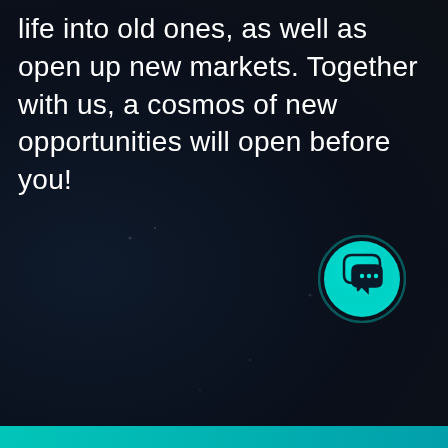life into old ones, as well as open up new markets. Together with us, a cosmos of new opportunities will open before you!
[Figure (illustration): A glowing cyan/teal circular chat button icon with speech bubble and ellipsis (…) symbol, positioned in the lower right area of a dark background page.]